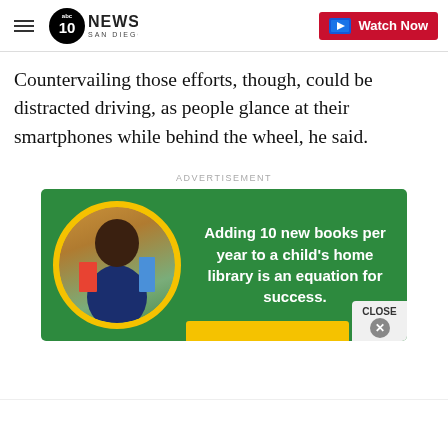ABC 10 NEWS SAN DIEGO | Watch Now
Countervailing those efforts, though, could be distracted driving, as people glance at their smartphones while behind the wheel, he said.
ADVERTISEMENT
[Figure (photo): Advertisement banner with green background. A child holding books in a circular yellow-bordered photo on the left. Text on right reads: Adding 10 new books per year to a child's home library is an equation for success. A yellow CTA button partially visible at bottom. A CLOSE button with X at bottom right.]